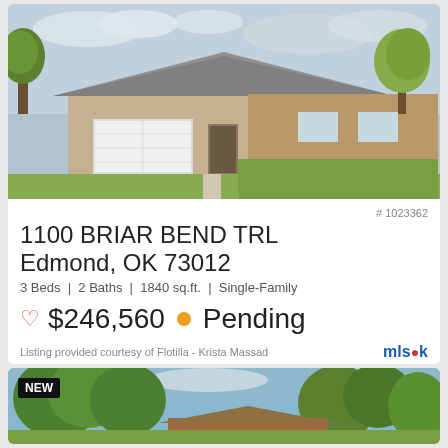[Figure (photo): Exterior photo of a single-family brick home with white two-car garage, green lawn, trees, and cloudy sky]
# 1023362
1100 BRIAR BEND TRL
Edmond, OK 73012
3 Beds | 2 Baths | 1840 sq.ft. | Single-Family
♡ $246,560 ● Pending
Listing provided courtesy of Flotilla - Krista Massad
[Figure (photo): Exterior photo of another property with trees and roofline visible, tagged NEW]